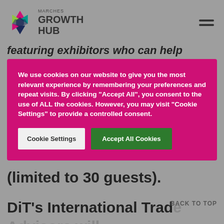[Figure (logo): Marches Growth Hub logo with colorful star/hexagon and text]
featuring exhibitors who can help
We use cookies on our website to give you the most relevant experience by remembering your preferences and repeat visits. By clicking "Accept All", you consent to the use of ALL the cookies. However, you may visit "Cookie Settings" to provide a controlled consent.
(limited to 30 guests).
DiT's International Trade Advisors will